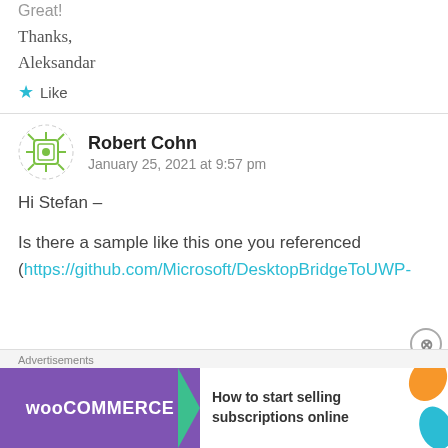Thanks,
Aleksandar
Like
Robert Cohn
January 25, 2021 at 9:57 pm
Hi Stefan –
Is there a sample like this one you referenced (https://github.com/Microsoft/DesktopBridgeToUWP-
Advertisements
[Figure (illustration): WooCommerce advertisement banner: purple background with WooCommerce logo, green arrow, text 'How to start selling subscriptions online', decorative orange and teal leaf shapes]